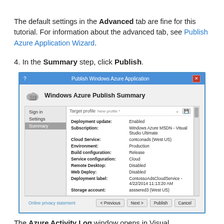The default settings in the Advanced tab are fine for this tutorial. For information about the advanced tab, see Publish Azure Application Wizard.
4. In the Summary step, click Publish.
[Figure (screenshot): Screenshot of 'Publish Windows Azure Application' dialog showing the Summary step. Fields include Deployment update: Enabled, Subscription: Windows Azure MSDN - Visual Studio Ultimate, Cloud Service: contconads (West US), Environment: Production, Build configuration: Release, Service configuration: Cloud, Remote Desktop: Disabled, Web Deploy: Disabled, Deployment label: ContossoAdsCloudService - 4/22/2014 11:13:20 AM, Storage account: asssered3 (West US). Bottom buttons: Previous, Next, Publish, Cancel.]
The Azure Activity Log window opens in Visual